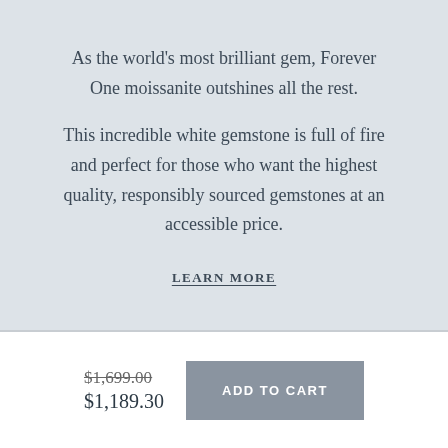As the world's most brilliant gem, Forever One moissanite outshines all the rest.
This incredible white gemstone is full of fire and perfect for those who want the highest quality, responsibly sourced gemstones at an accessible price.
LEARN MORE
$1,699.00 $1,189.30
ADD TO CART